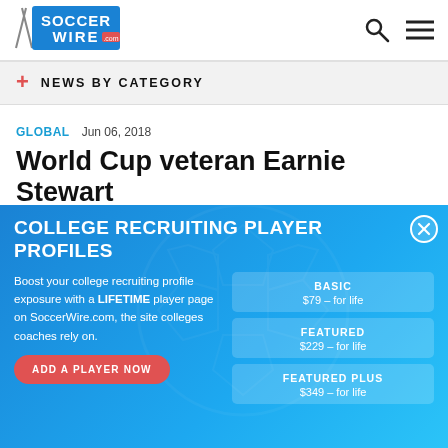[Figure (logo): SoccerWire.com logo — blue and black stylized text with lightning bolt motif]
NEWS BY CATEGORY
GLOBAL   Jun 06, 2018
World Cup veteran Earnie Stewart
COLLEGE RECRUITING PLAYER PROFILES
Boost your college recruiting profile exposure with a LIFETIME player page on SoccerWire.com, the site colleges coaches rely on.
BASIC — $79 – for life
FEATURED — $229 – for life
FEATURED PLUS — $349 – for life
ADD A PLAYER NOW